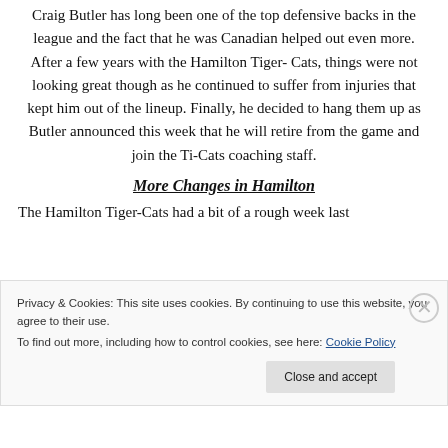Craig Butler has long been one of the top defensive backs in the league and the fact that he was Canadian helped out even more. After a few years with the Hamilton Tiger-Cats, things were not looking great though as he continued to suffer from injuries that kept him out of the lineup. Finally, he decided to hang them up as Butler announced this week that he will retire from the game and join the Ti-Cats coaching staff.
More Changes in Hamilton
The Hamilton Tiger-Cats had a bit of a rough week last
Privacy & Cookies: This site uses cookies. By continuing to use this website, you agree to their use.
To find out more, including how to control cookies, see here: Cookie Policy